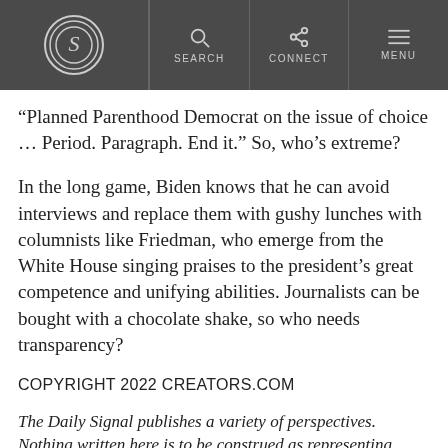S [logo] SEARCH CONNECT MENU
“Planned Parenthood Democrat on the issue of choice … Period. Paragraph. End it.” So, who’s extreme?
In the long game, Biden knows that he can avoid interviews and replace them with gushy lunches with columnists like Friedman, who emerge from the White House singing praises to the president’s great competence and unifying abilities. Journalists can be bought with a chocolate shake, so who needs transparency?
COPYRIGHT 2022 CREATORS.COM
The Daily Signal publishes a variety of perspectives. Nothing written here is to be construed as representing